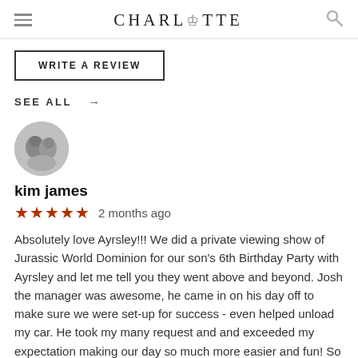CHARLOTTE
WRITE A REVIEW
SEE ALL →
[Figure (photo): Circular profile photo of two people in black and white]
kim james
★★★★★  2 months ago
Absolutely love Ayrsley!!! We did a private viewing show of Jurassic World Dominion for our son's 6th Birthday Party with Ayrsley and let me tell you they went above and beyond. Josh the manager was awesome, he came in on his day off to make sure we were set-up for success - even helped unload my car. He took my many request and and exceeded my expectation making our day so much more easier and fun! So grateful for this theater to offer an affordable option for a party with friends :)